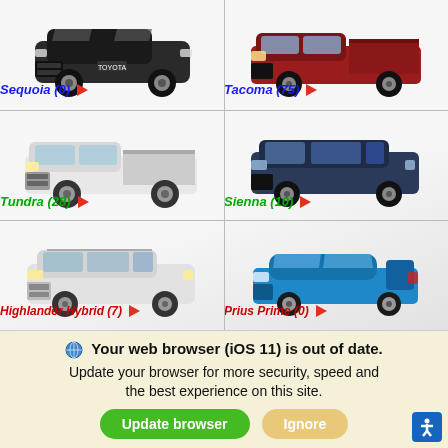[Figure (photo): Toyota Sequoia black SUV]
Sequoia (0)
[Figure (photo): Toyota Tacoma red pickup truck]
Tacoma (75)
[Figure (photo): Toyota Tundra white pickup truck]
Tundra (28)
[Figure (photo): Toyota Sienna dark blue minivan]
Sienna (10)
[Figure (photo): Toyota Highlander Hybrid white SUV]
Highlander Hybrid (7)
[Figure (photo): Toyota Prius Prime blue sedan]
Prius Prime (0)
Your web browser (iOS 11) is out of date. Update your browser for more security, speed and the best experience on this site.
Update browser
Ignore